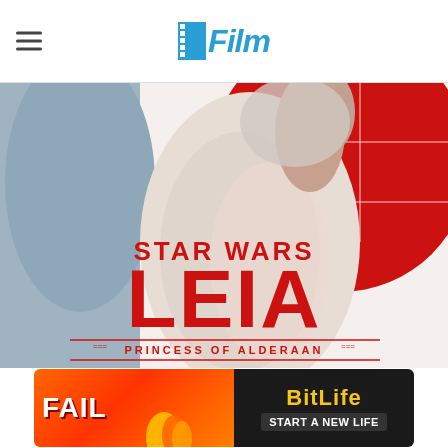/Film
[Figure (illustration): Book cover for Star Wars: Leia, Princess of Alderaan. Shows an illustrated young woman in white robes with arms raised, against a red circular background. Large red bold text reads STAR WARS LEIA, with subtitle PRINCESS OF ALDERAAN.]
[Figure (other): Advertisement banner for BitLife mobile game. Left side shows orange/fire background with FAIL text and animated character. Right side dark background with BitLife logo and START A NEW LIFE text.]